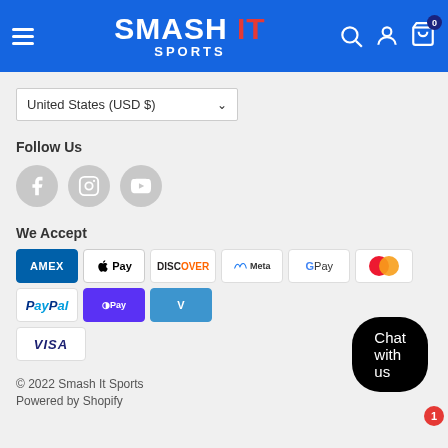[Figure (logo): Smash It Sports logo on blue header bar with hamburger menu and icons]
[Figure (other): Currency selector dropdown showing United States (USD $)]
Follow Us
[Figure (other): Social media icons: Facebook, Instagram, YouTube]
We Accept
[Figure (other): Payment method badges: AMEX, Apple Pay, Discover, Meta, Google Pay, Mastercard, PayPal, Shop Pay, Venmo, Visa]
© 2022 Smash It Sports
Powered by Shopify
[Figure (other): Chat with us button with notification badge showing 1]